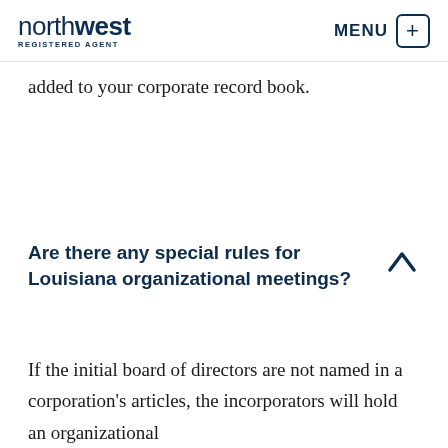northwest REGISTERED AGENT | MENU
added to your corporate record book.
Are there any special rules for Louisiana organizational meetings?
If the initial board of directors are not named in a corporation's articles, the incorporators will hold an organizational